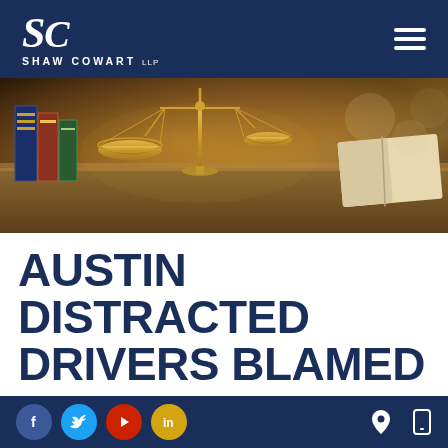[Figure (logo): Shaw Cowart LLP logo — SC letters in white serif italic, with SHAW COWART LLP in white capitals beneath, on dark navy background]
[Figure (photo): Photo of golden balance scales of justice on a wooden desk with law books and an open book in soft focus background]
AUSTIN DISTRACTED DRIVERS BLAMED
[Figure (other): Footer navigation bar with social media icons (Facebook, Twitter, YouTube/RSS, LinkedIn) and location pin and mobile phone icons on right]